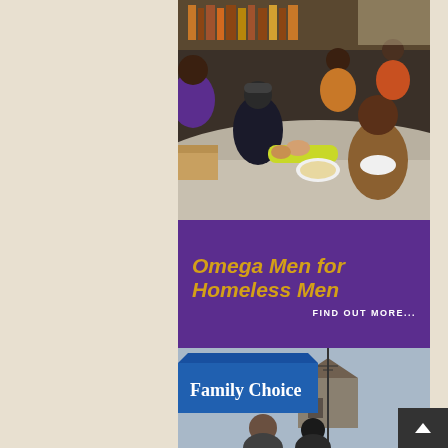[Figure (photo): Photo of people seated at a long table sharing a meal, with someone in a purple shirt distributing items. Indoor setting with bookshelves in background.]
Omega Men for Homeless Men
FIND OUT MORE...
[Figure (photo): Outdoor photo showing a blue tent/canopy with 'Family Choice' text, people standing outside with houses in background.]